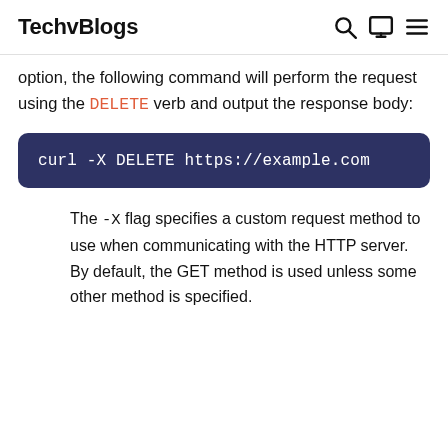TechvBlogs
option, the following command will perform the request using the DELETE verb and output the response body:
The -X flag specifies a custom request method to use when communicating with the HTTP server. By default, the GET method is used unless some other method is specified.